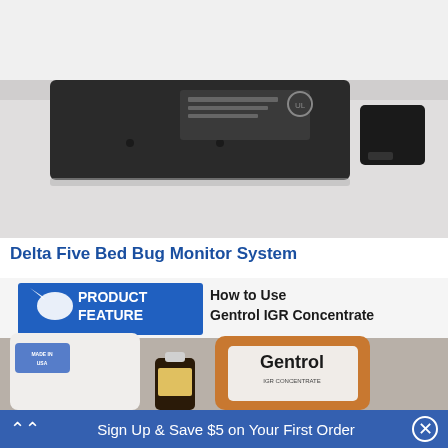[Figure (photo): Photo of Delta Five Bed Bug Monitor System hardware device — a flat black rectangular unit with foam padding and a separate black power adapter, placed on white bedding.]
Delta Five Bed Bug Monitor System
[Figure (photo): Product feature banner showing 'PRODUCT FEATURE How to Use Gentrol IGR Concentrate' with an image of Gentrol IGR Concentrate bottle and related products on a counter surface.]
Sign Up & Save $5 on Your First Order